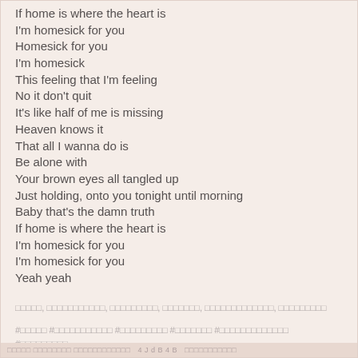If home is where the heart is
I'm homesick for you
Homesick for you
I'm homesick
This feeling that I'm feeling
No it don't quit
It's like half of me is missing
Heaven knows it
That all I wanna do is
Be alone with
Your brown eyes all tangled up
Just holding, onto you tonight until morning
Baby that's the damn truth
If home is where the heart is
I'm homesick for you
I'm homesick for you
Yeah yeah
□□□□□, □□□□□□□□□□□, □□□□□□□□□, □□□□□□□, □□□□□□□□□□□□□, □□□□□□□□□
#□□□□□ #□□□□□□□□□□□ #□□□□□□□□□ #□□□□□□□ #□□□□□□□□□□□□□ #□□□□□□□□□
□□□□□ □□□□□□□□ □□□□□□□□□□□□  4 J d B 4 B  □□□□□□□□□□□